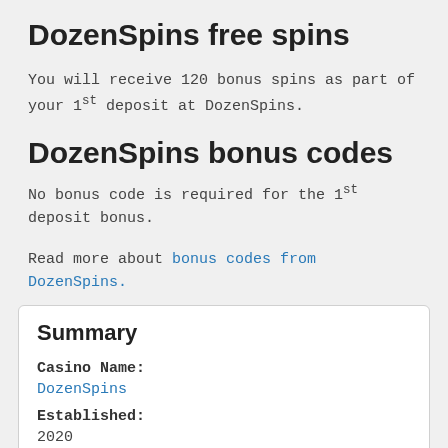DozenSpins free spins
You will receive 120 bonus spins as part of your 1st deposit at DozenSpins.
DozenSpins bonus codes
No bonus code is required for the 1st deposit bonus.
Read more about bonus codes from DozenSpins.
Summary
Casino Name:
DozenSpins
Established:
2020
License: